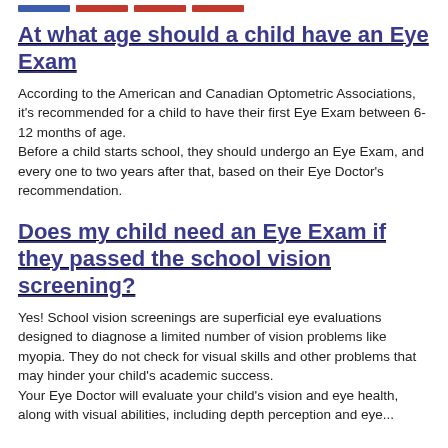[navigation bar with colored tabs]
At what age should a child have an Eye Exam
According to the American and Canadian Optometric Associations, it's recommended for a child to have their first Eye Exam between 6-12 months of age.
Before a child starts school, they should undergo an Eye Exam, and every one to two years after that, based on their Eye Doctor's recommendation.
Does my child need an Eye Exam if they passed the school vision screening?
Yes! School vision screenings are superficial eye evaluations designed to diagnose a limited number of vision problems like myopia. They do not check for visual skills and other problems that may hinder your child's academic success.
Your Eye Doctor will evaluate your child's vision and eye health, along with visual abilities, including depth perception and eye...